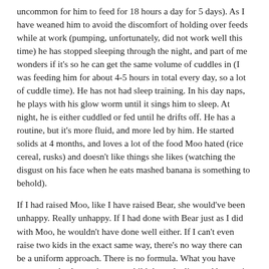uncommon for him to feed for 18 hours a day for 5 days). As I have weaned him to avoid the discomfort of holding over feeds while at work (pumping, unfortunately, did not work well this time) he has stopped sleeping through the night, and part of me wonders if it's so he can get the same volume of cuddles in (I was feeding him for about 4-5 hours in total every day, so a lot of cuddle time). He has not had sleep training. In his day naps, he plays with his glow worm until it sings him to sleep. At night, he is either cuddled or fed until he drifts off. He has a routine, but it's more fluid, and more led by him. He started solids at 4 months, and loves a lot of the food Moo hated (rice cereal, rusks) and doesn't like things she likes (watching the disgust on his face when he eats mashed banana is something to behold).
If I had raised Moo, like I have raised Bear, she would've been unhappy. Really unhappy. If I had done with Bear just as I did with Moo, he wouldn't have done well either. If I can't even raise two kids in the exact same way, there's no way there can be a uniform approach. There is no formula. What you have proven works, by getting your child through alive and happy, is what works. Unless you are endangering your own child or others (and I mean properly endangered, not 'you are poisoning your children by not eating organic' endangered) your choices are both valid and no one else's concern. And wouldn't it be nice if we stopped comparing, and judging. Parenting is hard. We are all flying by the seat of our